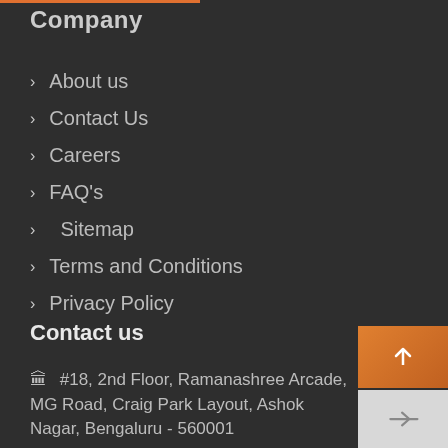Company
About us
Contact Us
Careers
FAQ's
Sitemap
Terms and Conditions
Privacy Policy
Contact us
#18, 2nd Floor, Ramanashree Arcade, MG Road, Craig Park Layout, Ashok Nagar, Bengaluru - 560001